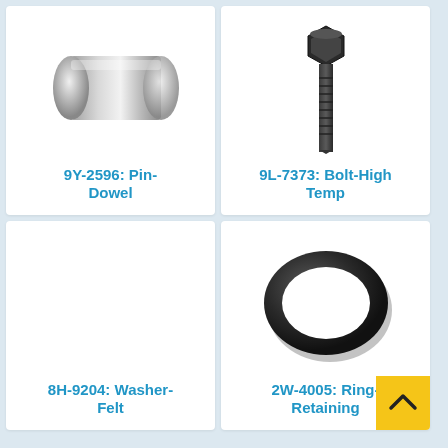[Figure (photo): Silver metallic cylindrical dowel pin, 3D render on white background]
9Y-2596: Pin-Dowel
[Figure (photo): Black hex-head bolt with long shank, 3D render on white background]
9L-7373: Bolt-High Temp
[Figure (photo): Empty white card area for washer image]
8H-9204: Washer-Felt
[Figure (photo): Black rubber retaining ring, 3D render on white background]
2W-4005: Ring-Retaining